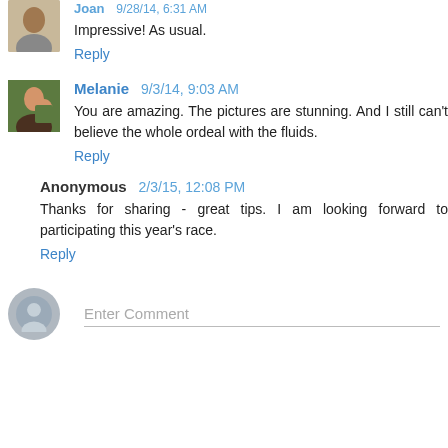Impressive! As usual.
Reply
Melanie 9/3/14, 9:03 AM
You are amazing. The pictures are stunning. And I still can't believe the whole ordeal with the fluids.
Reply
Anonymous 2/3/15, 12:08 PM
Thanks for sharing - great tips. I am looking forward to participating this year's race.
Reply
Enter Comment